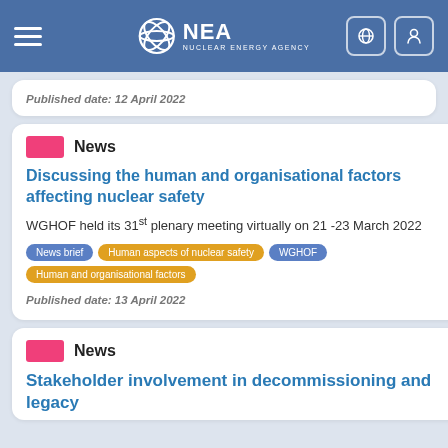NEA Nuclear Energy Agency
Published date: 12 April 2022
News
Discussing the human and organisational factors affecting nuclear safety
WGHOF held its 31st plenary meeting virtually on 21-23 March 2022
Tags: News brief, Human aspects of nuclear safety, WGHOF, Human and organisational factors
Published date: 13 April 2022
News
Stakeholder involvement in decommissioning and legacy